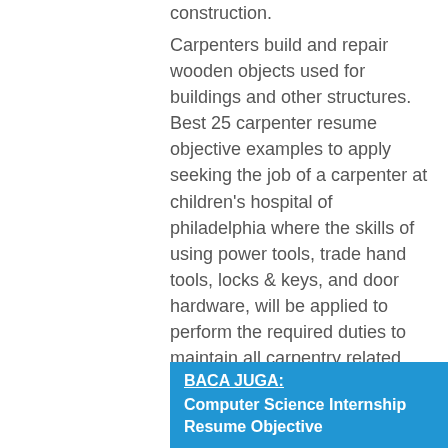construction.
Carpenters build and repair wooden objects used for buildings and other structures. Best 25 carpenter resume objective examples to apply seeking the job of a carpenter at children's hospital of philadelphia where the skills of using power tools, trade hand tools, locks & keys, and door hardware, will be applied to perform the required duties to maintain all carpentry related activities within a health care and research facility. Homepage / resume for construction / carpenter resume example free:
BACA JUGA: Computer Science Internship Resume Objective